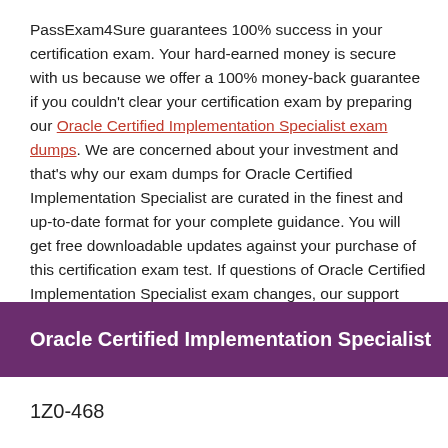PassExam4Sure guarantees 100% success in your certification exam. Your hard-earned money is secure with us because we offer a 100% money-back guarantee if you couldn't clear your certification exam by preparing our Oracle Certified Implementation Specialist exam dumps. We are concerned about your investment and that's why our exam dumps for Oracle Certified Implementation Specialist are curated in the finest and up-to-date format for your complete guidance. You will get free downloadable updates against your purchase of this certification exam test. If questions of Oracle Certified Implementation Specialist exam changes, our support team will ping you and update you about the new course content.
Oracle Certified Implementation Specialist
1Z0-468